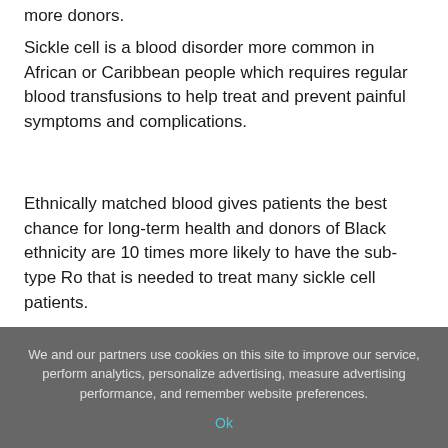more donors.
Sickle cell is a blood disorder more common in African or Caribbean people which requires regular blood transfusions to help treat and prevent painful symptoms and complications.
Ethnically matched blood gives patients the best chance for long-term health and donors of Black ethnicity are 10 times more likely to have the sub-type Ro that is needed to treat many sickle cell patients.
We and our partners use cookies on this site to improve our service, perform analytics, personalize advertising, measure advertising performance, and remember website preferences.
Ok